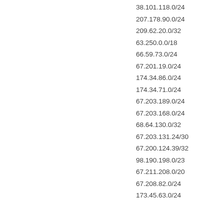38.101.118.0/24
207.178.90.0/24
209.62.20.0/32
63.250.0.0/18
66.59.73.0/24
67.201.19.0/24
174.34.86.0/24
174.34.71.0/24
67.203.189.0/24
67.203.168.0/24
68.64.130.0/32
67.203.131.24/30
67.200.124.39/32
98.190.198.0/23
67.211.208.0/20
67.208.82.0/24
173.45.63.0/24